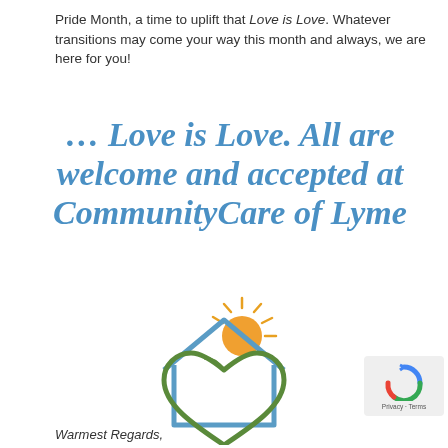Pride Month, a time to uplift that Love is Love. Whatever transitions may come your way this month and always, we are here for you!
… Love is Love. All are welcome and accepted at CommunityCare of Lyme
[Figure (logo): CommunityCare of Lyme logo: a blue house outline with a green heart shape inside and an orange sun rising behind the roof peak]
Warmest Regards,